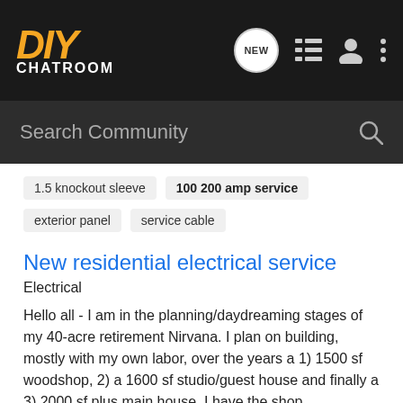DIY CHATROOM
Search Community
1.5 knockout sleeve
100 200 amp service
exterior panel
service cable
New residential electrical service
Electrical
Hello all - I am in the planning/daydreaming stages of my 40-acre retirement Nirvana. I plan on building, mostly with my own labor, over the years a 1) 1500 sf woodshop, 2) a 1600 sf studio/guest house and finally a 3) 2000 sf plus main house. I have the shop foundation/slab in place. Today I am...
6 replies | 1K views
hounddog · Dec 4, 2011